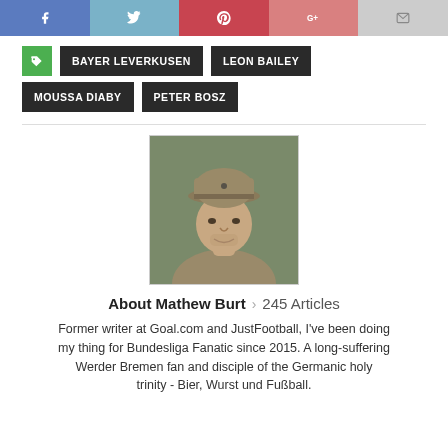[Figure (screenshot): Social media share bar with Facebook, Twitter, Pinterest, Google+, and Email buttons]
BAYER LEVERKUSEN
LEON BAILEY
MOUSSA DIABY
PETER BOSZ
[Figure (photo): Author photo of Mathew Burt, a man wearing a khaki baseball cap, looking at the camera with a slight smile]
About Mathew Burt > 245 Articles
Former writer at Goal.com and JustFootball, I've been doing my thing for Bundesliga Fanatic since 2015. A long-suffering Werder Bremen fan and disciple of the Germanic holy trinity - Bier, Wurst und Fußball.